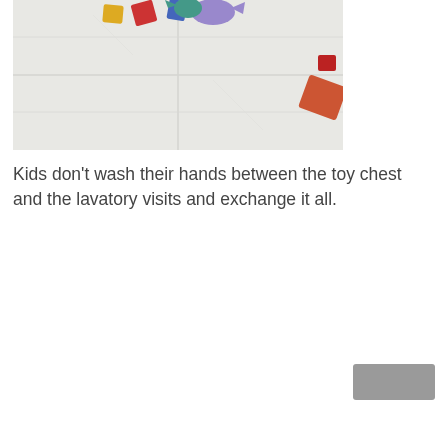[Figure (photo): Overhead view of colorful wooden toy blocks and animal shapes scattered on a white/light gray tiled floor. Toys include red, blue, yellow, and purple shapes.]
Kids don't wash their hands between the toy chest and the lavatory visits and exchange it all.